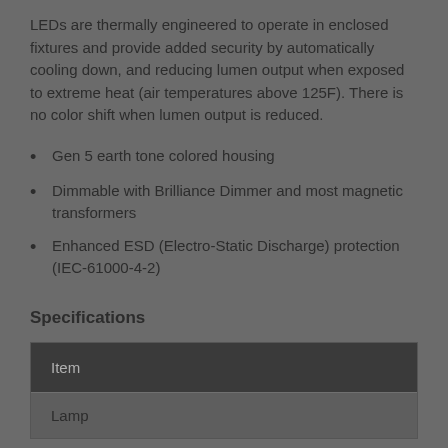LEDs are thermally engineered to operate in enclosed fixtures and provide added security by automatically cooling down, and reducing lumen output when exposed to extreme heat (air temperatures above 125F). There is no color shift when lumen output is reduced.
Gen 5 earth tone colored housing
Dimmable with Brilliance Dimmer and most magnetic transformers
Enhanced ESD (Electro-Static Discharge) protection (IEC-61000-4-2)
Specifications
| Item |
| --- |
| Lamp |